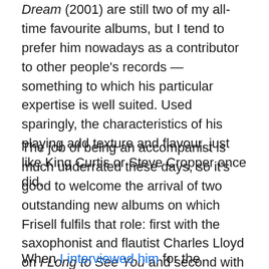Dream (2001) are still two of my all-time favourite albums, but I tend to prefer him nowadays as a contributor to other people's records — something to which his particular expertise is well suited. Used sparingly, the characteristics of his playing add texture and flavour, just like King Curtis or Steve Cropper once did.
The job of being an accompanist is much underrated these days, so it's good to welcome the arrival of two outstanding new albums on which Frisell fulfils that role: first with the saxophonist and flautist Charles Lloyd on I Long to See You and second with singer-songwriter Lucinda Williams on The Ghosts of Highway 20. They're very different, of course, but they benefit equally from the guitarist's modest, graceful touch.
When I interviewed him for the Guardian in 2002, Frisell